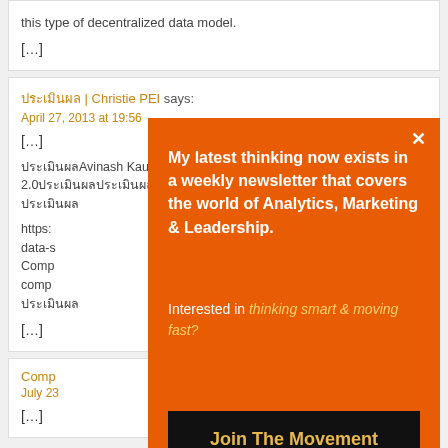this type of decentralized data model.
[…]
ประเมินผล | Christie PEI says:
April 27, 2013 at 19:56
[…]
ประเมินผลAvinash KaushikประเมินผลWeb Analytics 2.0ประเมินผล ประเมินผล
https: data-s Comp comp ประเมินผล
[…]
Comp July 23 […]
[Figure (infographic): Modal popup with orange background. Close button (×) in top right. Text: 'My latest thinking now exists in a weekly newsletter that covers the world of Analytics, Marketing & Leadership.' Subtext: 'Interested in thinking smart & moving fast?' Button: 'Join The Movement']